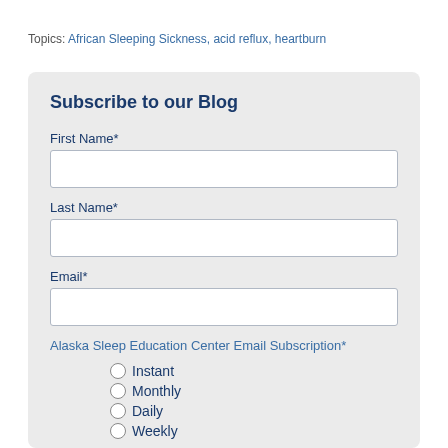Topics: African Sleeping Sickness, acid reflux, heartburn
Subscribe to our Blog
First Name*
Last Name*
Email*
Alaska Sleep Education Center Email Subscription*
Instant
Monthly
Daily
Weekly